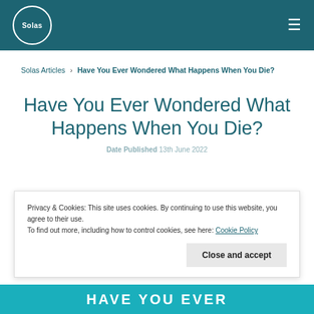Solas
Solas Articles › Have You Ever Wondered What Happens When You Die?
Have You Ever Wondered What Happens When You Die?
Date Published 13th June 2022
Privacy & Cookies: This site uses cookies. By continuing to use this website, you agree to their use. To find out more, including how to control cookies, see here: Cookie Policy
Close and accept
HAVE YOU EVER